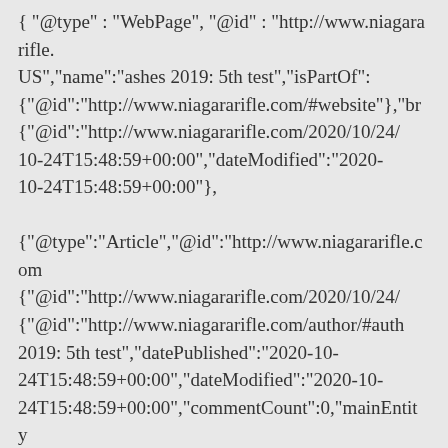{ "@type" : "WebPage", "@id" : "http://www.niagararifle...US","name":"ashes 2019: 5th test","isPartOf": {"@id":"http://www.niagararifle.com/#website"},"br... {"@id":"http://www.niagararifle.com/2020/10/24/... 10-24T15:48:59+00:00","dateModified":"2020-10-24T15:48:59+00:00"}, {"@type":"Article","@id":"http://www.niagararifle.com... {"@id":"http://www.niagararifle.com/2020/10/24/... {"@id":"http://www.niagararifle.com/author/#auth... 2019: 5th test","datePublished":"2020-10-24T15:48:59+00:00","dateModified":"2020-10-24T15:48:59+00:00","commentCount":0,"mainEntity... {"@id":"http://www.niagararifle.com/2020/10/24/... {"@id":"http://www.niagararifle.com/#organization... {"@type":"Person","@id":"#person","name":"Chris Bennett","sameAs":[],"image":